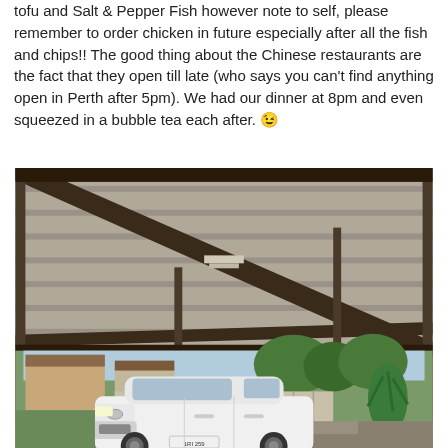tofu and Salt & Pepper Fish however note to self, please remember to order chicken in future especially after all the fish and chips!! The good thing about the Chinese restaurants are the fact that they open till late (who says you can't find anything open in Perth after 5pm). We had our dinner at 8pm and even squeezed in a bubble tea each after. 😉
[Figure (photo): A carport viewed from inside, showing the metal roof structure with beams and corrugated panels. In the lower portion, a white Toyota RAV4 SUV is parked in a suburban driveway. The background shows a residential street with houses, trees, and garden plants including a large agave. The scene appears to be in a suburban Australian neighborhood.]